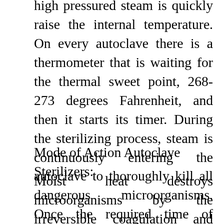high pressured steam is quickly raise the internal temperature. On every autoclave there is a thermometer that is waiting for the thermal sweet point, 268-273 degrees Fahrenheit, and then it starts its timer. During the sterilizing process, steam is continuously entering the autoclave to thoroughly kill all dangerous microorganisms. Once the required time of sterilization has the elapsed, the chamber will be exhausted of pressure and steam allowing the door to open for cooling and drying of the contents.
Mode of Action Autoclave Sterilizers:
Moist heat destroys microorganisms by the irreversible coagulation and denaturation of enzymes and structural proteins. In support of this